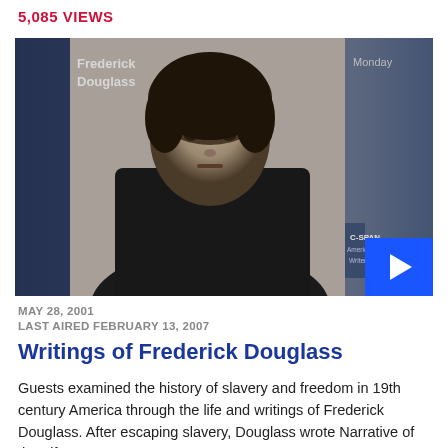5,085 VIEWS
[Figure (screenshot): Video thumbnail showing a black and white portrait photograph of Frederick Douglass. Text overlays show 'Frederick Douglass' in upper left and 'Monday' in upper right. A C-SPAN American Writers logo appears in the lower right area. A blue play button is in the bottom right corner.]
MAY 28, 2001
LAST AIRED FEBRUARY 13, 2007
Writings of Frederick Douglass
Guests examined the history of slavery and freedom in 19th century America through the life and writings of Frederick Douglass. After escaping slavery, Douglass wrote Narrative of the Life…